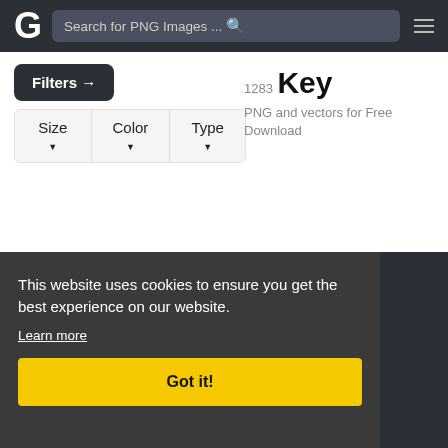G  Search for PNG Images ...
Filters →
Size ▼  Color ▼  Type ▼
1283 Key
PNG and vectors for Free Download
This website uses cookies to ensure you get the best experience on our website.
Learn more
Got it!